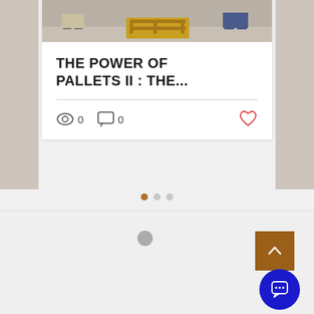[Figure (screenshot): Blog post card showing an image of people with a pallet, a bold title 'THE POWER OF PALLETS II : THE...', a divider line, view count 0, comment count 0, and a heart/like icon. Below the card are three pagination dots (first active in brown, two inactive in gray). At the bottom is a gray section with a back-to-top button (brown square with chevron up) and a chat button (blue circle).]
THE POWER OF PALLETS II : THE...
0  0